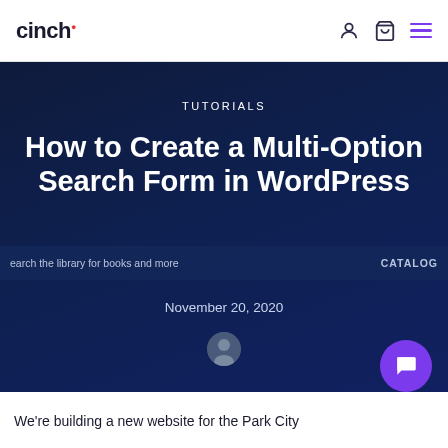cinch
TUTORIALS
How to Create a Multi-Option Search Form in WordPress
November 20, 2020
earch the library for books and more   CATALOG
We're building a new website for the Park City